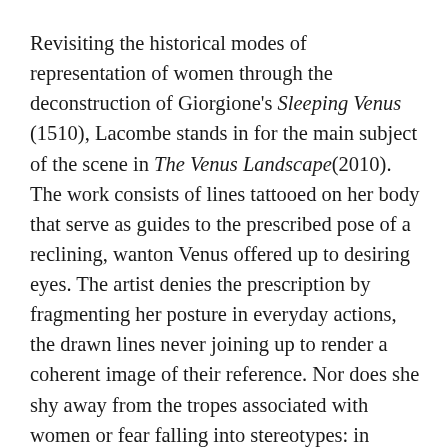Revisiting the historical modes of representation of women through the deconstruction of Giorgione's Sleeping Venus (1510), Lacombe stands in for the main subject of the scene in The Venus Landscape(2010). The work consists of lines tattooed on her body that serve as guides to the prescribed pose of a reclining, wanton Venus offered up to desiring eyes. The artist denies the prescription by fragmenting her posture in everyday actions, the drawn lines never joining up to render a coherent image of their reference. Nor does she shy away from the tropes associated with women or fear falling into stereotypes: in dealing with maternity, the menstrual cycle, and women's kinship with nature, her project Of all the watery bodies, I only know my own (2013–16) is an occasion to reflect on the body's erosion through the monthly loss of its reproductive potential. No